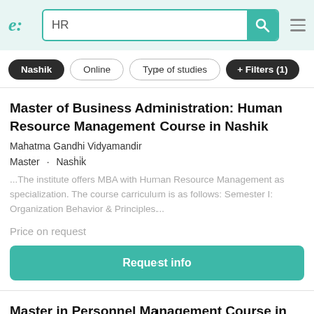e: [logo] | HR [search] | menu
Nashik
Online
Type of studies
+ Filters (1)
Master of Business Administration: Human Resource Management Course in Nashik
Mahatma Gandhi Vidyamandir
Master · Nashik
...The institute offers MBA with Human Resource Management as specialization. The course carriculum is as follows: Semester I: Organization Behavior & Principles...
Price on request
Request info
Master in Personnel Management Course in Nashik